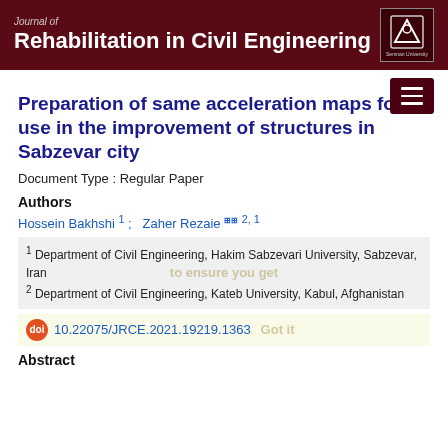Journal of Rehabilitation in Civil Engineering
Preparation of same acceleration maps for use in the improvement of structures in Sabzevar city
Document Type : Regular Paper
Authors
Hossein Bakhshi 1 ; Zaher Rezaie 2, 1
1 Department of Civil Engineering, Hakim Sabzevari University, Sabzevar, Iran
2 Department of Civil Engineering, Kateb University, Kabul, Afghanistan
10.22075/JRCE.2021.19219.1363
Abstract